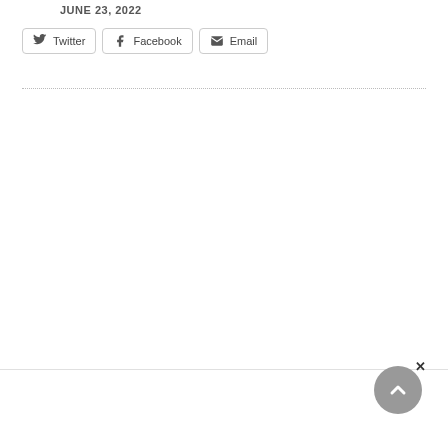JUNE 23, 2022
Twitter | Facebook | Email
[Figure (other): Scroll-to-top circular button with upward chevron arrow, grey background, with an X close button nearby]